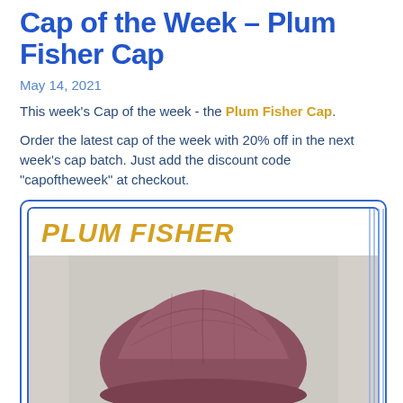Cap of the Week – Plum Fisher Cap
May 14, 2021
This week's Cap of the week - the Plum Fisher Cap.
Order the latest cap of the week with 20% off in the next week's cap batch. Just add the discount code "capoftheweek" at checkout.
[Figure (photo): Product card with 'PLUM FISHER' title in gold italic text on white background inside a blue double-bordered rounded rectangle, below which is a photo of a plum/mauve colored flat cap (fisherman style) on a light grey background.]